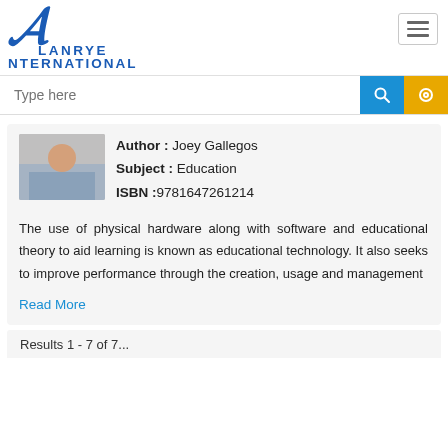[Figure (logo): Clanrye International logo with stylized C letter and text CLANRYE INTERNATIONAL in blue]
Type here
Author : Joey Gallegos
Subject : Education
ISBN :9781647261214
The use of physical hardware along with software and educational theory to aid learning is known as educational technology. It also seeks to improve performance through the creation, usage and management
Read More
Results 1 - 7 of 7...